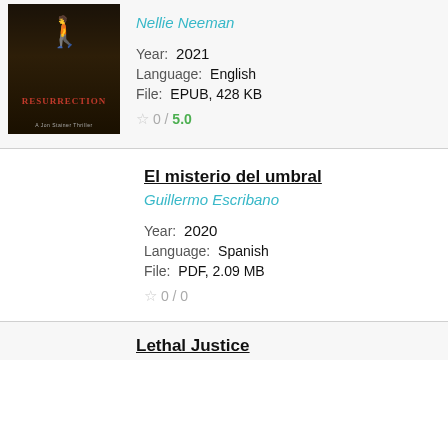[Figure (photo): Book cover for Resurrection showing a figure in a dark alley]
Nellie Neeman
Year: 2021
Language: English
File: EPUB, 428 KB
0 / 5.0
El misterio del umbral
Guillermo Escribano
Year: 2020
Language: Spanish
File: PDF, 2.09 MB
0 / 0
Lethal Justice